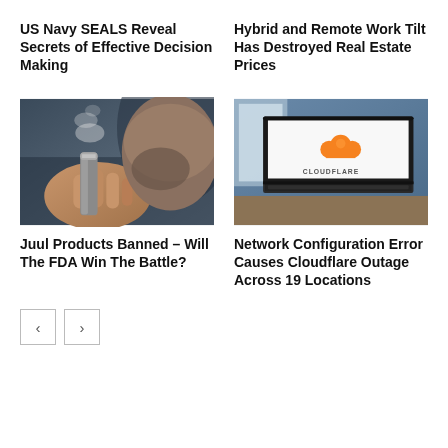US Navy SEALS Reveal Secrets of Effective Decision Making
Hybrid and Remote Work Tilt Has Destroyed Real Estate Prices
[Figure (photo): Person vaping, holding an e-cigarette device up to their mouth, close-up shot with blurred background]
[Figure (photo): Laptop displaying the Cloudflare logo (orange cloud icon with CLOUDFLARE text) on a white screen, placed on a desk]
Juul Products Banned – Will The FDA Win The Battle?
Network Configuration Error Causes Cloudflare Outage Across 19 Locations